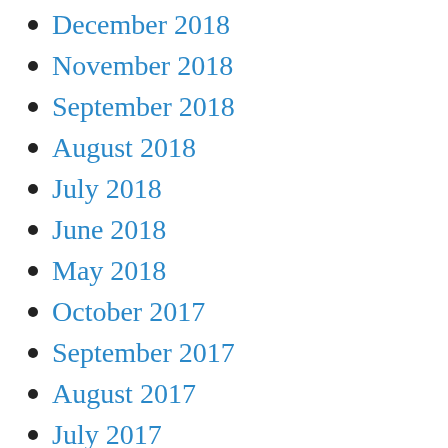December 2018
November 2018
September 2018
August 2018
July 2018
June 2018
May 2018
October 2017
September 2017
August 2017
July 2017
June 2017
May 2017
April 2017